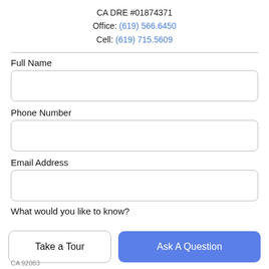CA DRE #01874371
Office: (619) 566.6450
Cell: (619) 715.5609
Full Name
Phone Number
Email Address
What would you like to know?
Take a Tour
Ask A Question
CA 92083